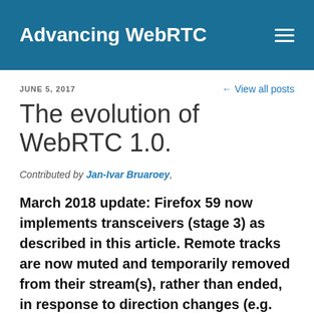Advancing WebRTC
JUNE 5, 2017
← View all posts
The evolution of WebRTC 1.0.
Contributed by Jan-Ivar Bruaroey,
March 2018 update: Firefox 59 now implements transceivers (stage 3) as described in this article. Remote tracks are now muted and temporarily removed from their stream(s), rather than ended, in response to direction changes (e.g. from